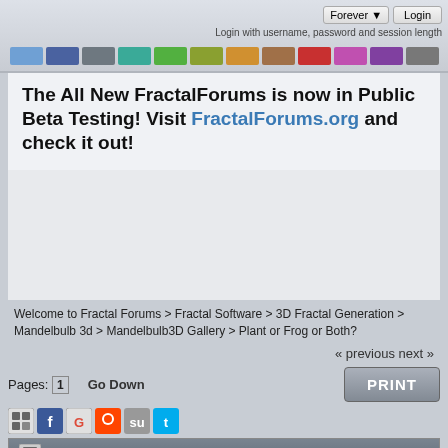Forever ▼  Login
Login with username, password and session length
[Figure (infographic): Row of colored swatches/buttons: light blue, dark blue, gray, teal, green, olive/yellow-green, orange, brown, red, pink/magenta, purple, dark gray]
The All New FractalForums is now in Public Beta Testing! Visit FractalForums.org and check it out!
Welcome to Fractal Forums > Fractal Software > 3D Fractal Generation > Mandelbulb 3d > Mandelbulb3D Gallery > Plant or Frog or Both?
« previous next »
Pages: [1]   Go Down
[Figure (infographic): Row of social sharing icons: share/bookmark icon, Facebook, Google, Reddit, StumbleUpon, Twitter]
|  | Author | Topic: Plant or Frog or Both?  (Read 297 times) |
| --- | --- | --- |
|  | 0 Members and 1 Guest are viewing this topic. |  |
PRINT